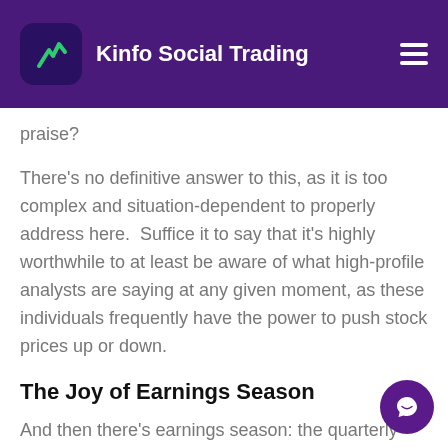Kinfo Social Trading
praise?
There's no definitive answer to this, as it is too complex and situation-dependent to properly address here.  Suffice it to say that it's highly worthwhile to at least be aware of what high-profile analysts are saying at any given moment, as these individuals frequently have the power to push stock prices up or down.
The Joy of Earnings Season
And then there's earnings season: the quarterly market tradition in which analysts express the yeas and nays on most of the world's most